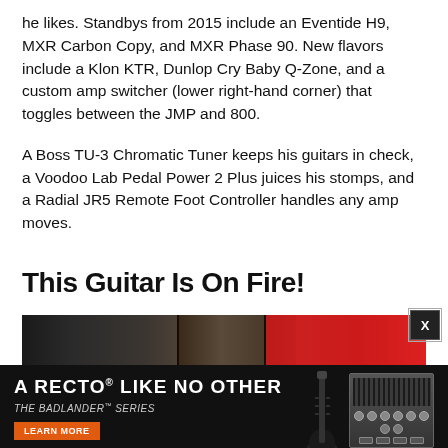he likes. Standbys from 2015 include an Eventide H9, MXR Carbon Copy, and MXR Phase 90. New flavors include a Klon KTR, Dunlop Cry Baby Q-Zone, and a custom amp switcher (lower right-hand corner) that toggles between the JMP and 800.

A Boss TU-3 Chromatic Tuner keeps his guitars in check, a Voodoo Lab Pedal Power 2 Plus juices his stomps, and a Radial JR5 Remote Foot Controller handles any amp moves.
This Guitar Is On Fire!
[Figure (photo): Partial view of a guitar and amplifier setup with red and black background elements]
[Figure (photo): Mesa/Boogie advertisement overlay showing 'A RECTO LIKE NO OTHER - THE BADLANDER SERIES' with a guitar and amplifier head image, Learn More button, and Mesa/Boogie logo]